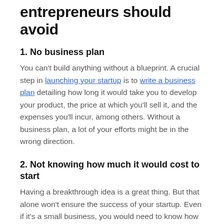entrepreneurs should avoid
1. No business plan
You can’t build anything without a blueprint. A crucial step in launching your startup is to write a business plan detailing how long it would take you to develop your product, the price at which you’ll sell it, and the expenses you’ll incur, among others. Without a business plan, a lot of your efforts might be in the wrong direction.
2. Not knowing how much it would cost to start
Having a breakthrough idea is a great thing. But that alone won’t ensure the success of your startup. Even if it’s a small business, you would need to know how much it would cost to set it up